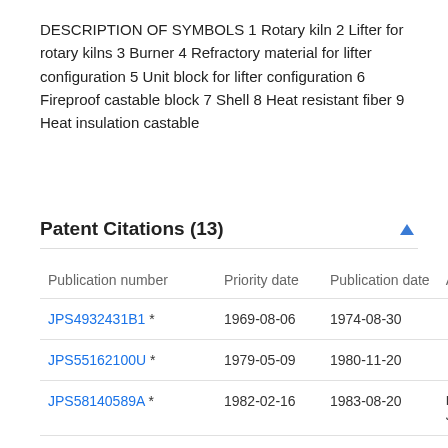DESCRIPTION OF SYMBOLS 1 Rotary kiln 2 Lifter for rotary kilns 3 Burner 4 Refractory material for lifter configuration 5 Unit block for lifter configuration 6 Fireproof castable block 7 Shell 8 Heat resistant fiber 9 Heat insulation castable
Patent Citations (13)
| Publication number | Priority date | Publication date | Ass |
| --- | --- | --- | --- |
| JPS4932431B1 * | 1969-08-06 | 1974-08-30 |  |
| JPS55162100U * | 1979-05-09 | 1980-11-20 |  |
| JPS58140589A * | 1982-02-16 | 1983-08-20 | Plib Jap |
| JPS58140590A * | 1982-02-16 | 1983-08-20 | Plib Jap |
| JPS60200081A * | 1984-03-22 | 1985-10-09 | Shi Kag |